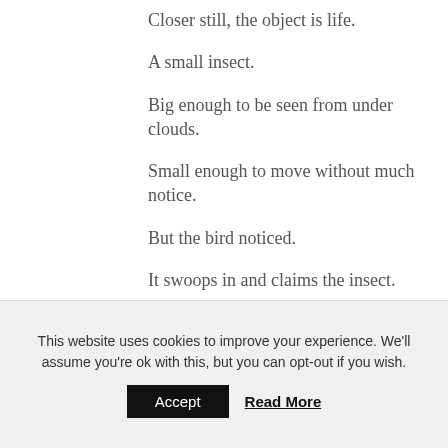Closer still, the object is life.
A small insect.
Big enough to be seen from under clouds.
Small enough to move without much notice.
But the bird noticed.
It swoops in and claims the insect.
In a moment, life is gone.
This website uses cookies to improve your experience. We'll assume you're ok with this, but you can opt-out if you wish.
Accept
Read More